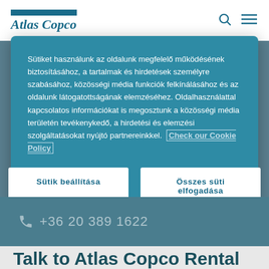[Figure (logo): Atlas Copco logo with blue bar above italic serif text]
Sütiket használunk az oldalunk megfelelő működésének biztosításához, a tartalmak és hirdetések személyre szabásához, közösségi média funkciók felkínálásához és az oldalunk látogatottságának elemzéséhez. Oldalhasználattal kapcsolatos információkat is megosztunk a közösségi média területén tevékenykedő, a hirdetési és elemzési szolgáltatásokat nyújtó partnereinkkel.  Check our Cookie Policy
Sütik beállítása
Összes süti elfogadása
+36 20 389 1622
Talk to Atlas Copco Rental for the right solution for your